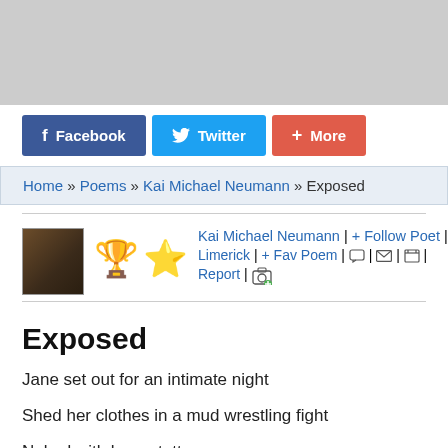[Figure (other): Gray advertisement banner at top of page]
[Figure (other): Social sharing buttons: Facebook (blue), Twitter (light blue), More (red/orange)]
Home » Poems » Kai Michael Neumann » Exposed
[Figure (other): Poet profile area with photo thumbnail, two trophy/star emoji icons, and poet info: Kai Michael Neumann | + Follow Poet | [email icon] | Limerick | + Fav Poem | [comment icon] | [email icon] | [print icon] | Report | [camera+ icon]]
Exposed
Jane set out for an intimate night
Shed her clothes in a mud wrestling fight
Naked with horny tattoo